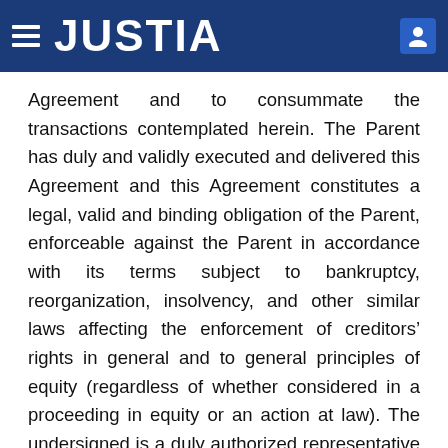JUSTIA
Agreement and to consummate the transactions contemplated herein. The Parent has duly and validly executed and delivered this Agreement and this Agreement constitutes a legal, valid and binding obligation of the Parent, enforceable against the Parent in accordance with its terms subject to bankruptcy, reorganization, insolvency, and other similar laws affecting the enforcement of creditors’ rights in general and to general principles of equity (regardless of whether considered in a proceeding in equity or an action at law). The undersigned is a duly authorized representative of the Parent and all necessary entity action has been taken to authorize the undersigned to enter into this Agreement and to consummate the transactions contemplated herein.